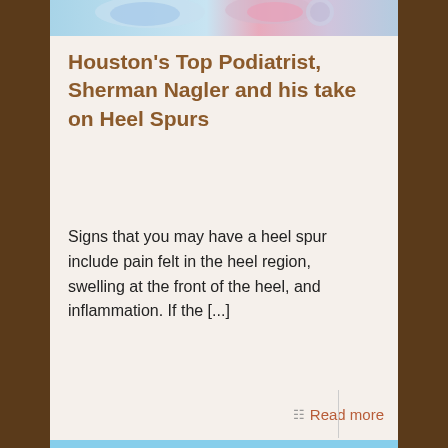[Figure (photo): Medical illustration of heel/foot anatomy with blue and pink highlights at the top of the content area]
Houston's Top Podiatrist, Sherman Nagler and his take on Heel Spurs
Signs that you may have a heel spur include pain felt in the heel region, swelling at the front of the heel, and inflammation. If the [...]
Read more
[Figure (photo): Woman in pink athletic top and black pants running outdoors against a blue sky background]